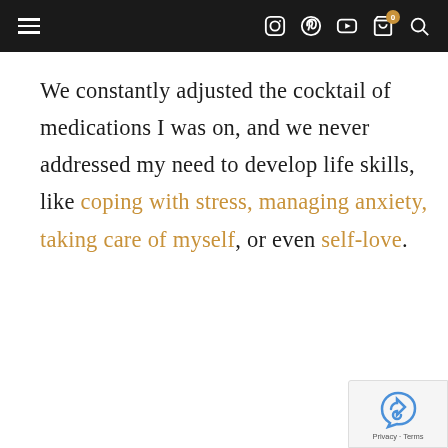Navigation bar with menu, social icons, and search
We constantly adjusted the cocktail of medications I was on, and we never addressed my need to develop life skills, like coping with stress, managing anxiety, taking care of myself, or even self-love.
[Figure (other): reCAPTCHA widget with Privacy and Terms text]